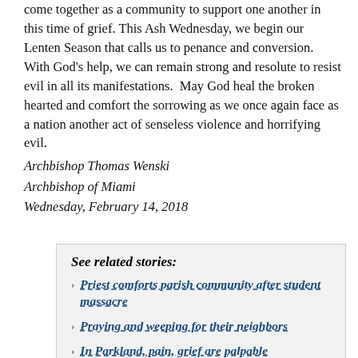come together as a community to support one another in this time of grief. This Ash Wednesday, we begin our Lenten Season that calls us to penance and conversion.  With God's help, we can remain strong and resolute to resist evil in all its manifestations.  May God heal the broken hearted and comfort the sorrowing as we once again face as a nation another act of senseless violence and horrifying evil.
Archbishop Thomas Wenski
Archbishop of Miami
Wednesday, February 14, 2018
See related stories:
Priest comforts parish community after student massacre
Praying and weeping for their neighbors
In Parkland, pain, grief are palpable